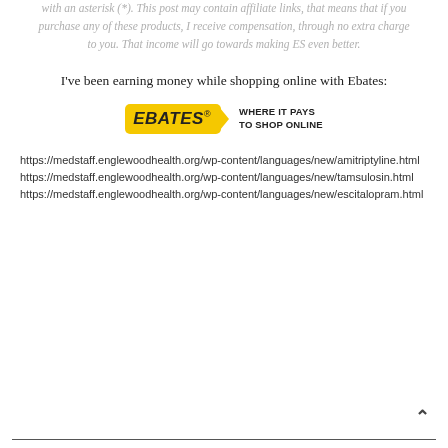with an asterisk (*). This post may contain affiliate links, that means that if you purchase any of these products, I receive compensation, through no extra charge to you. That income will go towards making ES even better.
I've been earning money while shopping online with Ebates:
[Figure (logo): Ebates logo with yellow badge and tagline 'WHERE IT PAYS TO SHOP ONLINE']
https://medstaff.englewoodhealth.org/wp-content/languages/new/amitriptyline.html https://medstaff.englewoodhealth.org/wp-content/languages/new/tamsulosin.html https://medstaff.englewoodhealth.org/wp-content/languages/new/escitalopram.html